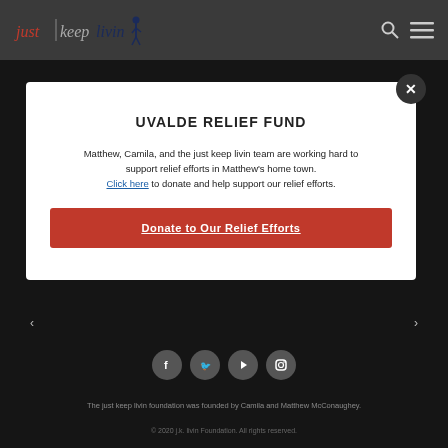just keep livin
UVALDE RELIEF FUND
Matthew, Camila, and the just keep livin team are working hard to support relief efforts in Matthew's home town. Click here to donate and help support our relief efforts.
Donate to Our Relief Efforts
The just keep livin foundation was founded by Camila and Matthew McConaughey.
© 2020 j.k. livin Foundation. All rights reserved.